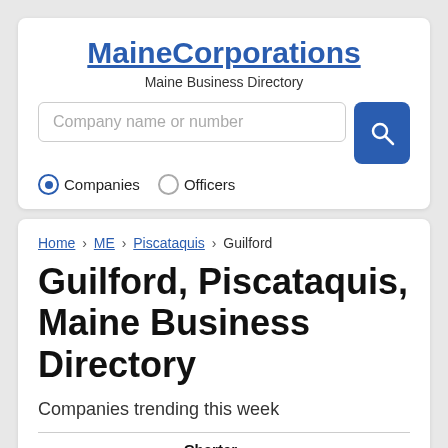MaineCorporations
Maine Business Directory
Company name or number
Companies   Officers
Home › ME › Piscataquis › Guilford
Guilford, Piscataquis, Maine Business Directory
Companies trending this week
| Company Name | Charter Number | Address | R |
| --- | --- | --- | --- |